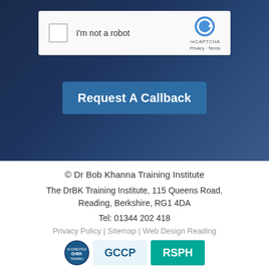[Figure (screenshot): reCAPTCHA widget with checkbox labeled 'I'm not a robot' and reCAPTCHA logo on dark background]
Request A Callback
© Dr Bob Khanna Training Institute
The DrBK Training Institute, 115 Queens Road, Reading, Berkshire, RG1 4DA
Tel: 01344 202 418
Privacy Policy | Sitemap | Web Design Reading
[Figure (logo): Accreditation badges: circular blue badge, GCCP logo, and RSPH logo]